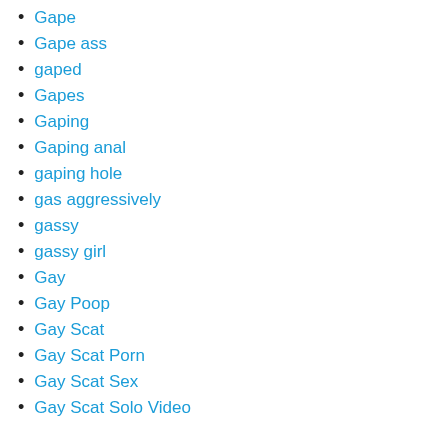Gape
Gape ass
gaped
Gapes
Gaping
Gaping anal
gaping hole
gas aggressively
gassy
gassy girl
Gay
Gay Poop
Gay Scat
Gay Scat Porn
Gay Scat Sex
Gay Scat Solo Video